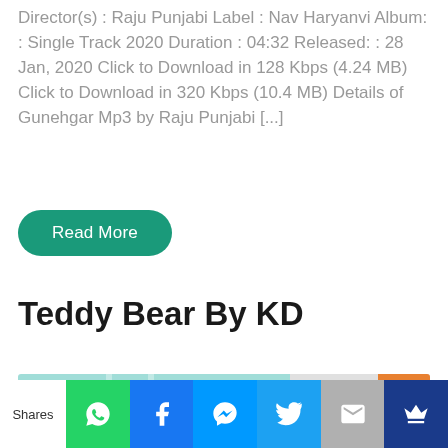Director(s) : Raju Punjabi Label : Nav Haryanvi Album: : Single Track 2020 Duration : 04:32 Released: : 28 Jan, 2020 Click to Download in 128 Kbps (4.24 MB) Click to Download in 320 Kbps (10.4 MB) Details of Gunehgar Mp3 by Raju Punjabi [...]
Read More
Teddy Bear By KD
[Figure (photo): Album art for Teddy Bear by KD - shows a cartoon figure with a black hat and orange sunglasses on a teal/mint background with REVA MUSIC BOX PRESENTS text and REYA logo badge]
Shares [WhatsApp] [Facebook] [Messenger] [Twitter] [Email] [Crown]